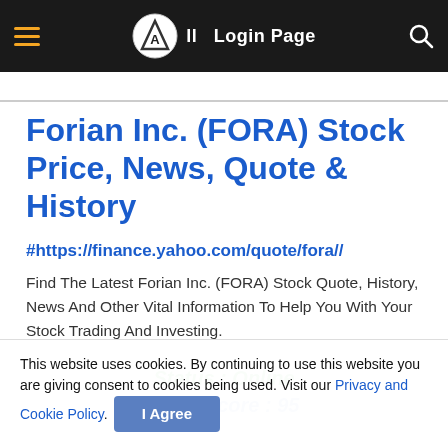All Login Page
Forian Inc. (FORA) Stock Price, News, Quote & History
#https://finance.yahoo.com/quote/fora//
Find The Latest Forian Inc. (FORA) Stock Quote, History, News And Other Vital Information To Help You With Your Stock Trading And Investing.
Status : Online
Trust Score : 95
This website uses cookies. By continuing to use this website you are giving consent to cookies being used. Visit our Privacy and Cookie Policy.